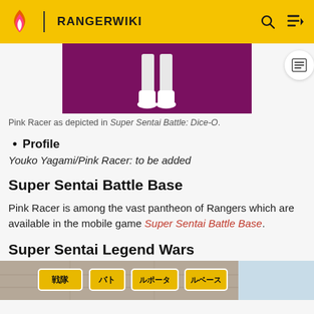RANGERWIKI
[Figure (screenshot): Cropped image of Pink Racer character legs on dark purple/magenta background from Super Sentai Battle: Dice-O game]
Pink Racer as depicted in Super Sentai Battle: Dice-O.
Profile
Youko Yagami/Pink Racer: to be added
Super Sentai Battle Base
Pink Racer is among the vast pantheon of Rangers which are available in the mobile game Super Sentai Battle Base.
Super Sentai Legend Wars
[Figure (screenshot): Bottom portion of a Super Sentai Legend Wars game screenshot with stone background and Japanese text logos]